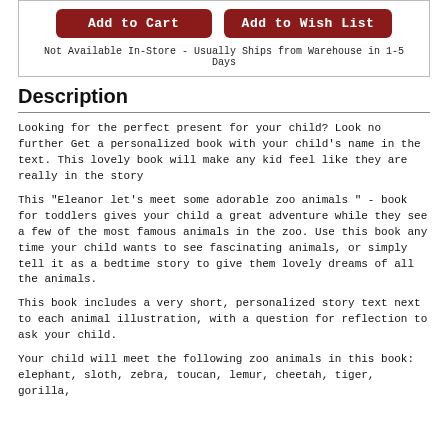[Figure (other): Two buttons: 'Add to Cart' and 'Add to Wish List' with availability note below]
Not Available In-Store - Usually Ships from Warehouse in 1-5 Days
Description
Looking for the perfect present for your child? Look no further Get a personalized book with your child's name in the text. This lovely book will make any kid feel like they are really in the story
This "Eleanor let's meet some adorable zoo animals " - book for toddlers gives your child a great adventure while they see a few of the most famous animals in the zoo. Use this book any time your child wants to see fascinating animals, or simply tell it as a bedtime story to give them lovely dreams of all the animals.
This book includes a very short, personalized story text next to each animal illustration, with a question for reflection to ask your child.
Your child will meet the following zoo animals in this book: elephant, sloth, zebra, toucan, lemur, cheetah, tiger, gorilla,